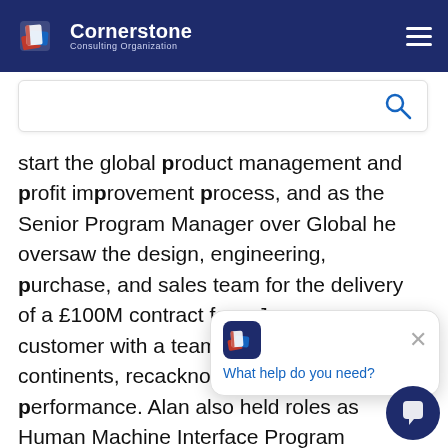Cornerstone Consulting Organization
start the global product management and profit improvement process, and as the Senior Program Manager over Global he oversaw the design, engineering, purchase, and sales team for the delivery of a £100M contract for a Japanese customer with a team of people on three continents, rec acknowledgment of team's performance. Alan also held roles as Human Machine Interface Program Manager over Europe, Product Marketing Manager o Visteon Europe, and Business Development
[Figure (screenshot): Chat popup widget with Cornerstone logo icon and 'What help do you need?' text, plus close button and chat bubble button]